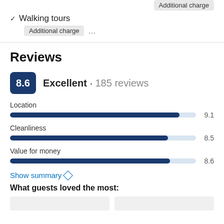Additional charge
✓ Walking tours
Additional charge ...
Reviews
8.6  Excellent · 185 reviews
[Figure (bar-chart): Review scores]
Show summary ◇
What guests loved the most: